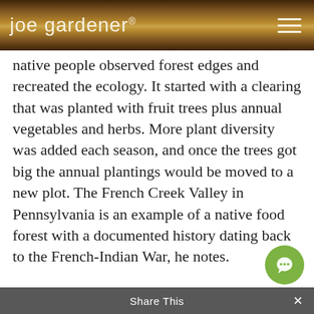joe gardener®
native people observed forest edges and recreated the ecology. It started with a clearing that was planted with fruit trees plus annual vegetables and herbs. More plant diversity was added each season, and once the trees got big the annual plantings would be moved to a new plot. The French Creek Valley in Pennsylvania is an example of a native food forest with a documented history dating back to the French-Indian War, he notes.
According to Darrell, a food forest is a well-managed, integrated system that includes groups of plant species that grow well together and interact in a mutually beneficial way. This includes fruit, vegetables, herbs, medicinal plants and plants that promote beneficial insect habitat, balance nutrients. This managed forest eco-system also provides
Share This